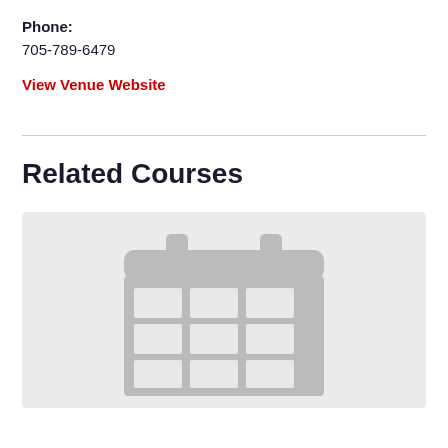Phone:
705-789-6479
View Venue Website
Related Courses
[Figure (illustration): Placeholder calendar icon graphic in gray on light gray background]